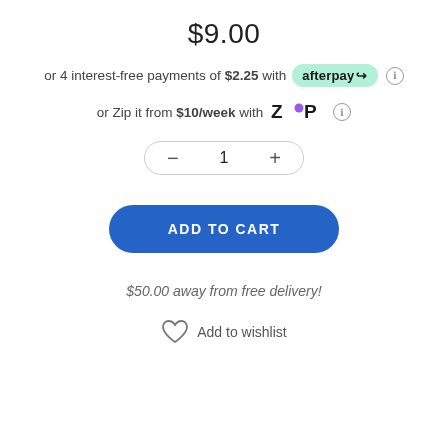$9.00
or 4 interest-free payments of $2.25 with afterpay
or Zip it from $10/week with Zip
1
ADD TO CART
$50.00 away from free delivery!
Add to wishlist